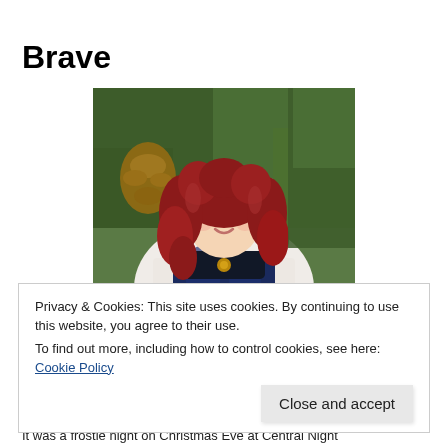Brave
[Figure (photo): A Merida (Brave) doll with curly red hair wearing a dark blue satin dress, photographed in front of Christmas tree branches with pinecones and ornaments.]
Privacy & Cookies: This site uses cookies. By continuing to use this website, you agree to their use.
To find out more, including how to control cookies, see here: Cookie Policy
Close and accept
It was a frostle night on Christmas Eve at Central Night